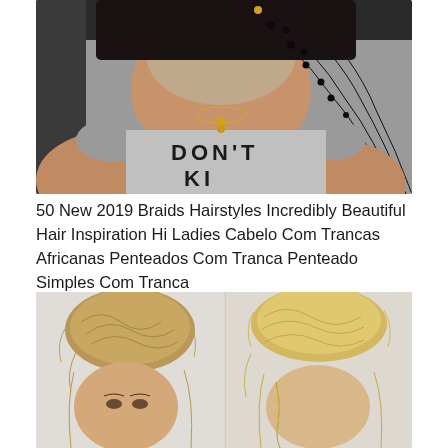[Figure (photo): Woman with box braids hairstyle, head bowed down, wearing a gray cold-shoulder top with 'DON'T KILL' text printed on it. The braids are black and pulled to one side.]
50 New 2019 Braids Hairstyles Incredibly Beautiful Hair Inspiration Hi Ladies Cabelo Com Trancas Africanas Penteados Com Tranca Penteado Simples Com Tranca
[Figure (photo): Two side-by-side photos of women with messy updo bun hairstyles. Left photo shows a brunette/dark blonde with a loose messy bun. Right photo shows a blonde with a messy bun and a braid incorporated into the style.]